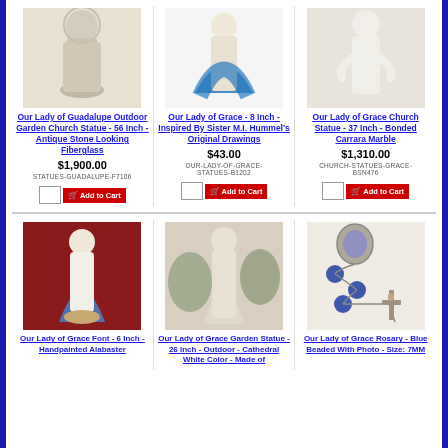[Figure (photo): Product image of Our Lady of Guadalupe Outdoor Garden Church Statue - 56 Inch - Antique Stone Looking Fiberglass - white stone-look statue]
Our Lady of Guadalupe Outdoor Garden Church Statue - 56 Inch - Antique Stone Looking Fiberglass
$1,900.00
STATUES-GUADALUPE-F7106
[Figure (photo): Product image of Our Lady of Grace - 8 Inch - Inspired By Sister M.I. Hummel's Original Drawings - blue and white statue]
Our Lady of Grace - 8 Inch - Inspired By Sister M.I. Hummel's Original Drawings
$43.00
OUR-LADY-OF-GRACE-STATUES-B1202
[Figure (photo): Product image of Our Lady of Grace Church Statue - 37 Inch - Bonded Carrara Marble - white marble statue]
Our Lady of Grace Church Statue - 37 Inch - Bonded Carrara Marble
$1,310.00
CHURCH-STATUES-GRACE-BSN476
[Figure (photo): Product image of Our Lady of Grace Font - 6 Inch - Handpainted Alabaster - painted statue on red background]
Our Lady of Grace Font - 6 Inch - Handpainted Alabaster
[Figure (photo): Product image of Our Lady of Grace Garden Statue - 26 Inch - Outdoor - Cathedral White Color - Made of - stone look outdoor statue]
Our Lady of Grace Garden Statue - 26 Inch - Outdoor - Cathedral White Color - Made of
[Figure (photo): Product image of Our Lady of Grace Rosary - Blue Beaded With Photo - Size: 7MM - rosary with blue beads and crucifix]
Our Lady of Grace Rosary - Blue Beaded With Photo - Size: 7MM